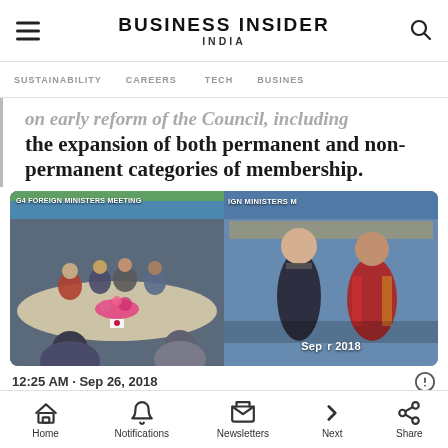BUSINESS INSIDER INDIA
SUSTAINABILITY  CAREERS  TECH  BUSINESS
on early reform of the Council, including the expansion of both permanent and non-permanent categories of membership.
[Figure (photo): Two photos from G4 Foreign Ministers Meeting, September 2018. Left photo shows delegates seated around a conference table with flags. Right photo shows two officials standing in front of a banner reading 'G4 Foreign Ministers Meeting' dated September 2018.]
12:25 AM · Sep 26, 2018
Home  Notifications  Newsletters  Next  Share